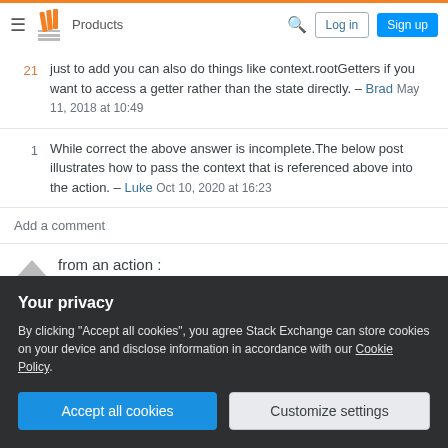Stack Exchange navigation — Products | Log in | Sign up
21 — just to add you can also do things like context.rootGetters if you want to access a getter rather than the state directly. – Brad May 11, 2018 at 10:49
1 — While correct the above answer is incomplete.The below post illustrates how to pass the context that is referenced above into the action. – Luke Oct 10, 2020 at 16:23
Add a comment
from an action :
Your privacy
By clicking "Accept all cookies", you agree Stack Exchange can store cookies on your device and disclose information in accordance with our Cookie Policy.
Accept all cookies | Customize settings